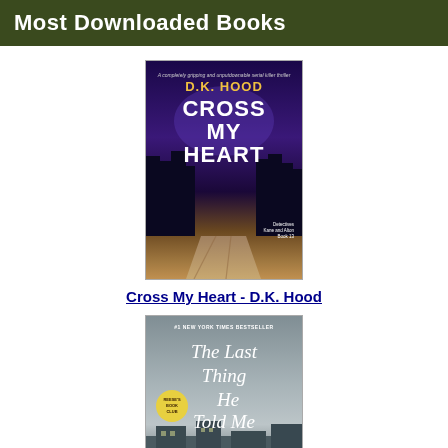Most Downloaded Books
[Figure (illustration): Book cover of 'Cross My Heart' by D.K. Hood. Dark purple and night-sky background with large white title text, author name in gold, silhouette of trees, and a wooden boardwalk path.]
Cross My Heart - D.K. Hood
[Figure (illustration): Book cover of 'The Last Thing He Told Me' with grey-green stormy sky background, cursive white script title, and a Reese's Book Club badge.]